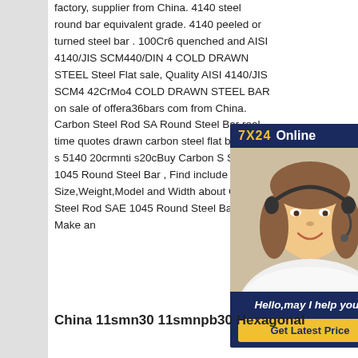factory, supplier from China. 4140 steel round bar equivalent grade. 4140 peeled or turned steel bar . 100Cr6 quenched and AISI 4140/JIS SCM440/DIN 4 COLD DRAWN STEEL Steel Flat sale, Quality AISI 4140/JIS SCM4 42CrMo4 COLD DRAWN STEEL BAR on sale of offera36bars com from China. Carbon Steel Rod SA Round Steel Bar real-time quotes drawn carbon steel flat bar s45c s 5140 20crmnti s20cBuy Carbon S SAE 1045 Round Steel Bar , Find include Size,Weight,Model and Width about Carbon Steel Rod SAE 1045 Round Steel Bar . Make an
[Figure (infographic): Customer support chat widget with '7X24 Online' header in yellow and white text on dark blue background, photo of a smiling woman with headset, italic bold text 'Hello,may I help you?' and a yellow 'Get Latest Price' button]
China 11smn30 11smnpb30 Hexagonal Free Section Search...